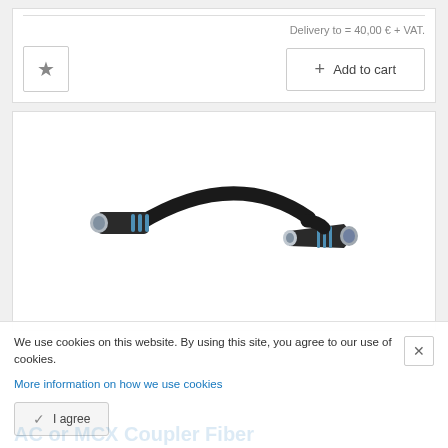Delivery to = 40,00 € + VAT.
[Figure (other): E-commerce product listing interface with star/favorite button and Add to cart button]
[Figure (photo): Industrial cable assembly with two metal connector ends (fiber optic or RF connectors) with blue stripe markings, connected by a black cable in a curved shape]
We use cookies on this website. By using this site, you agree to our use of cookies.
More information on how we use cookies
I agree